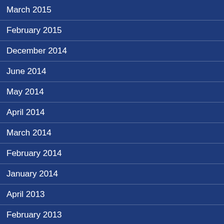March 2015
February 2015
December 2014
June 2014
May 2014
April 2014
March 2014
February 2014
January 2014
April 2013
February 2013
January 2013